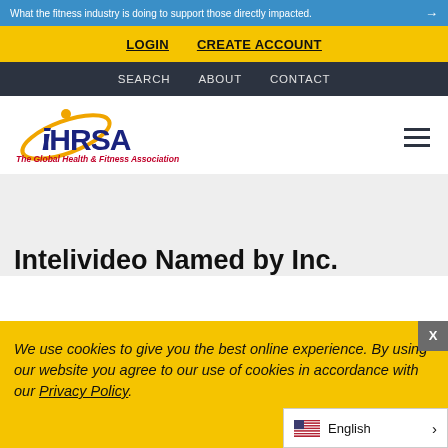What the fitness industry is doing to support those directly impacted. →
LOGIN   CREATE ACCOUNT
SEARCH   ABOUT   CONTACT
[Figure (logo): IHRSA logo - The Global Health & Fitness Association, with circular i mark and swoosh in gold/yellow, IHRSA text in dark blue]
Intelivideo Named by Inc.
We use cookies to give you the best online experience. By using our website you agree to our use of cookies in accordance with our Privacy Policy.